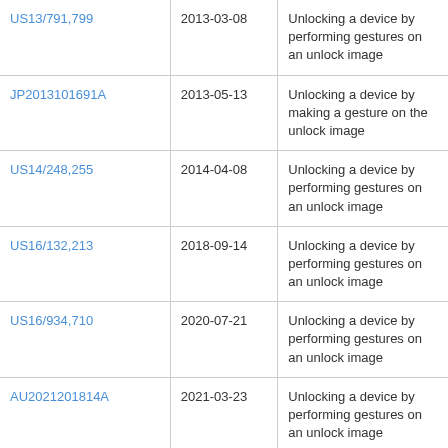| US13/791,799 | 2013-03-08 | Unlocking a device by performing gestures on an unlock image |
| JP2013101691A | 2013-05-13 | Unlocking a device by making a gesture on the unlock image |
| US14/248,255 | 2014-04-08 | Unlocking a device by performing gestures on an unlock image |
| US16/132,213 | 2018-09-14 | Unlocking a device by performing gestures on an unlock image |
| US16/934,710 | 2020-07-21 | Unlocking a device by performing gestures on an unlock image |
| AU2021201814A | 2021-03-23 | Unlocking a device by performing gestures on an unlock image |
| US17/374,825 | 2021-07-13 | Unlocking a device by performing gestures on an unlock image |